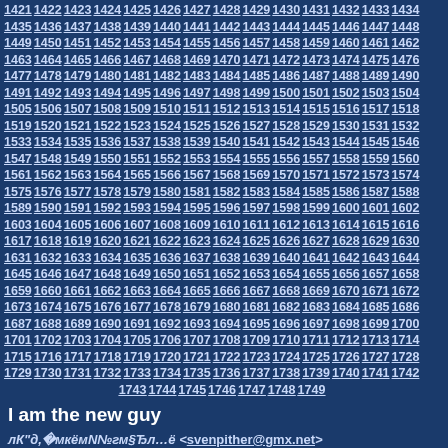1421 1422 1423 1424 1425 1426 1427 1428 1429 1430 1431 1432 1433 1434 1435 1436 1437 1438 1439 1440 1441 1442 1443 1444 1445 1446 1447 1448 1449 1450 1451 1452 1453 1454 1455 1456 1457 1458 1459 1460 1461 1462 1463 1464 1465 1466 1467 1468 1469 1470 1471 1472 1473 1474 1475 1476 1477 1478 1479 1480 1481 1482 1483 1484 1485 1486 1487 1488 1489 1490 1491 1492 1493 1494 1495 1496 1497 1498 1499 1500 1501 1502 1503 1504 1505 1506 1507 1508 1509 1510 1511 1512 1513 1514 1515 1516 1517 1518 1519 1520 1521 1522 1523 1524 1525 1526 1527 1528 1529 1530 1531 1532 1533 1534 1535 1536 1537 1538 1539 1540 1541 1542 1543 1544 1545 1546 1547 1548 1549 1550 1551 1552 1553 1554 1555 1556 1557 1558 1559 1560 1561 1562 1563 1564 1565 1566 1567 1568 1569 1570 1571 1572 1573 1574 1575 1576 1577 1578 1579 1580 1581 1582 1583 1584 1585 1586 1587 1588 1589 1590 1591 1592 1593 1594 1595 1596 1597 1598 1599 1600 1601 1602 1603 1604 1605 1606 1607 1608 1609 1610 1611 1612 1613 1614 1615 1616 1617 1618 1619 1620 1621 1622 1623 1624 1625 1626 1627 1628 1629 1630 1631 1632 1633 1634 1635 1636 1637 1638 1639 1640 1641 1642 1643 1644 1645 1646 1647 1648 1649 1650 1651 1652 1653 1654 1655 1656 1657 1658 1659 1660 1661 1662 1663 1664 1665 1666 1667 1668 1669 1670 1671 1672 1673 1674 1675 1676 1677 1678 1679 1680 1681 1682 1683 1684 1685 1686 1687 1688 1689 1690 1691 1692 1693 1694 1695 1696 1697 1698 1699 1700 1701 1702 1703 1704 1705 1706 1707 1708 1709 1710 1711 1712 1713 1714 1715 1716 1717 1718 1719 1720 1721 1722 1723 1724 1725 1726 1727 1728 1729 1730 1731 1732 1733 1734 1735 1736 1737 1738 1739 1740 1741 1742 1743 1744 1745 1746 1747 1748 1749
I am the new guy
лК"д, мкёмN№гм§Ђл…ё <svenpither@gmx.net>